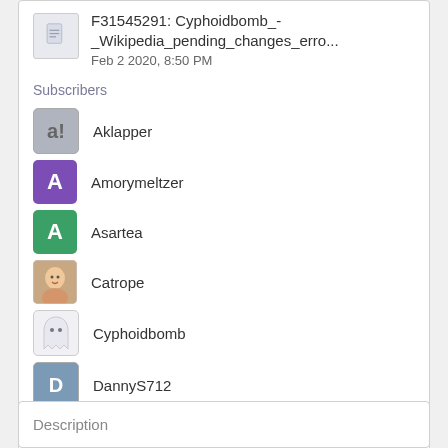F31545291: Cyphoidbomb_-_Wikipedia_pending_changes_erro...
Feb 2 2020, 8:50 PM
Subscribers
Aklapper
Amorymeltzer
Asartea
Catrope
Cyphoidbomb
DannyS712
Davey2010
View All 28 Subscribers
Description